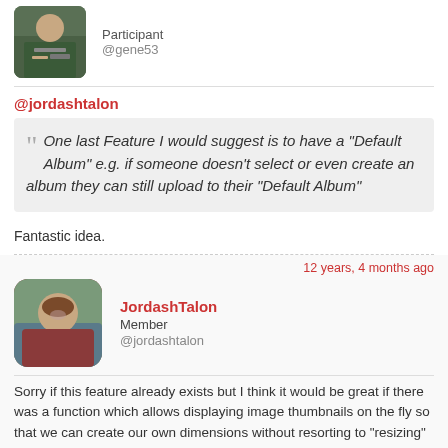[Figure (photo): Small avatar photo of a person writing, shown in top-left corner]
Participant
@gene53
@jordashtalon
One last Feature I would suggest is to have a "Default Album" e.g. if someone doesn't select or even create an album they can still upload to their "Default Album"
Fantastic idea.
12 years, 4 months ago
[Figure (photo): Avatar photo of JordashTalon, a person wearing sunglasses outdoors]
JordashTalon
Member
@jordashtalon
Sorry if this feature already exists but I think it would be great if there was a function which allows displaying image thumbnails on the fly so that we can create our own dimensions without resorting to "resizing" the image with HTML: